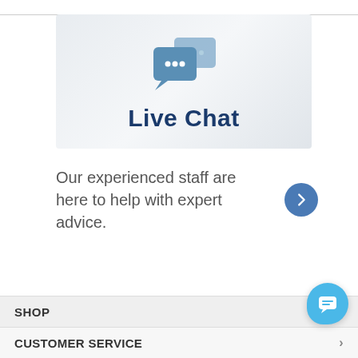[Figure (illustration): Live Chat banner with two overlapping speech bubble icons in steel blue color, followed by bold navy text 'Live Chat' on a light gray gradient background]
Our experienced staff are here to help with expert advice.
[Figure (illustration): Right-pointing chevron arrow inside a circular steel blue button]
SHOP
CUSTOMER SERVICE
[Figure (illustration): Floating action button (FAB) with chat/message icon in sky blue color, positioned at bottom right]